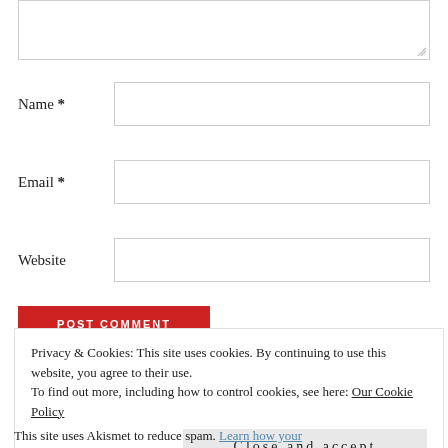Name *
Email *
Website
POST COMMENT
Privacy & Cookies: This site uses cookies. By continuing to use this website, you agree to their use.
To find out more, including how to control cookies, see here: Our Cookie Policy
Close and accept
This site uses Akismet to reduce spam. Learn how your